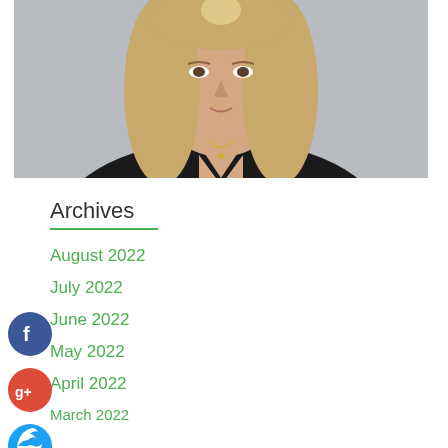[Figure (photo): Professional headshot of a woman with blonde shoulder-length hair wearing a black v-neck top with a gold necklace, against a light grey background]
Archives
August 2022
July 2022
June 2022
May 2022
April 2022
March 2022